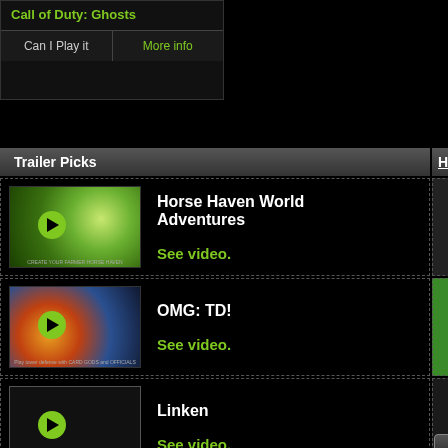Call of Duty: Ghosts
Can I Play it | More info
Trailer Picks
Hardw...
[Figure (screenshot): Horse Haven World Adventures game thumbnail with play button]
Horse Haven World Adventures
See video.
[Figure (screenshot): OMG: TD! game thumbnail with play button]
OMG: TD!
See video.
[Figure (screenshot): Linken game thumbnail with play button]
Linken
See video.